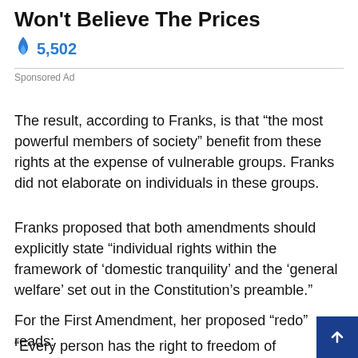Won't Believe The Prices
🔥 5,502
Sponsored Ad
The result, according to Franks, is that “the most powerful members of society” benefit from these rights at the expense of vulnerable groups. Franks did not elaborate on individuals in these groups.
Franks proposed that both amendments should explicitly state “individual rights within the framework of ‘domestic tranquility’ and the ‘general welfare’ set out in the Constitution’s preamble.”
For the First Amendment, her proposed “redo” reads:
“Every person has the right to freedom of expression, association, peaceful assembly, and petition of the government for redress of grievances.